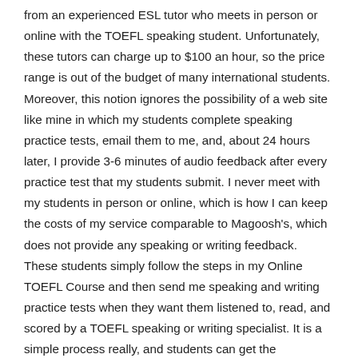from an experienced ESL tutor who meets in person or online with the TOEFL speaking student. Unfortunately, these tutors can charge up to $100 an hour, so the price range is out of the budget of many international students. Moreover, this notion ignores the possibility of a web site like mine in which my students complete speaking practice tests, email them to me, and, about 24 hours later, I provide 3-6 minutes of audio feedback after every practice test that my students submit. I never meet with my students in person or online, which is how I can keep the costs of my service comparable to Magoosh's, which does not provide any speaking or writing feedback. These students simply follow the steps in my Online TOEFL Course and then send me speaking and writing practice tests when they want them listened to, read, and scored by a TOEFL speaking or writing specialist. It is a simple process really, and students can get the appropriate feedback they need without having to pay the extraordinary prices that in person or online tutors charge.